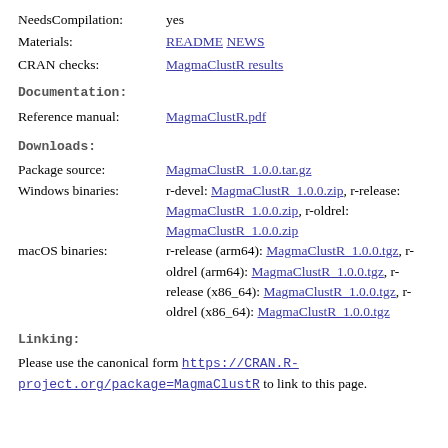NeedsCompilation: yes
Materials: README NEWS
CRAN checks: MagmaClustR results
Documentation:
Reference manual: MagmaClustR.pdf
Downloads:
Package source: MagmaClustR_1.0.0.tar.gz
Windows binaries: r-devel: MagmaClustR_1.0.0.zip, r-release: MagmaClustR_1.0.0.zip, r-oldrel: MagmaClustR_1.0.0.zip
macOS binaries: r-release (arm64): MagmaClustR_1.0.0.tgz, r-oldrel (arm64): MagmaClustR_1.0.0.tgz, r-release (x86_64): MagmaClustR_1.0.0.tgz, r-oldrel (x86_64): MagmaClustR_1.0.0.tgz
Linking:
Please use the canonical form https://CRAN.R-project.org/package=MagmaClustR to link to this page.